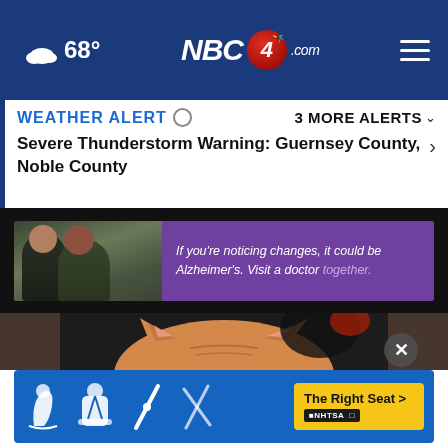☁ 68° NBC4i.com
WEATHER ALERT ○	3 MORE ALERTS ∨
Severe Thunderstorm Warning: Guernsey County, Noble County
[Figure (photo): Advertisement: Two men outdoors, with purple text box reading 'If you're noticing changes, it could be Alzheimer's. Visit a doctor together.']
[Figure (photo): Close-up photo of an orange tabby cat's head, blurred background with dark surroundings]
[Figure (photo): NHTSA advertisement: 'The Right Seat >' with car seat safety icons in blue background]